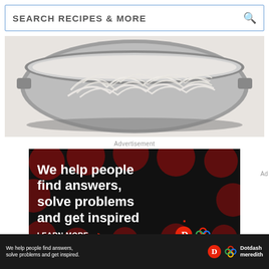SEARCH RECIPES & MORE
[Figure (photo): Top-down view of a pot of noodles/pasta in water on a stovetop]
Advertisement
[Figure (infographic): Dark advertisement banner with text 'We help people find answers, solve problems and get inspired.' with LEARN MORE button and Dotdash Meredith logos]
Ad
We help people find answers, solve problems and get inspired. Dotdash meredith